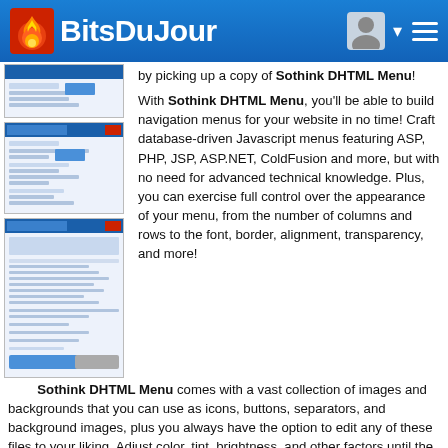Bits Du Jour
by picking up a copy of Sothink DHTML Menu!
[Figure (screenshot): Screenshot 1 of Sothink DHTML Menu software interface (partially visible)]
With Sothink DHTML Menu, you'll be able to build navigation menus for your website in no time! Craft database-driven Javascript menus featuring ASP, PHP, JSP, ASP.NET, ColdFusion and more, but with no need for advanced technical knowledge. Plus, you can exercise full control over the appearance of your menu, from the number of columns and rows to the font, border, alignment, transparency, and more!
[Figure (screenshot): Screenshot 2 of Sothink DHTML Menu software interface]
[Figure (screenshot): Screenshot 3 of Sothink DHTML Menu software interface (larger)]
Sothink DHTML Menu comes with a vast collection of images and backgrounds that you can use as icons, buttons, separators, and background images, plus you always have the option to edit any of these files to your liking. Adjust color, tint, brightness, and other factors until the effect shines.
Your Sothink DHTML Menu creations are guaranteed to be